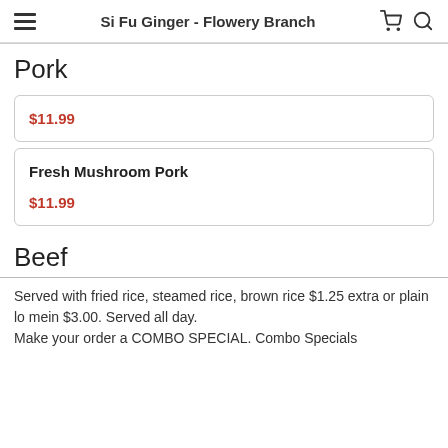Si Fu Ginger - Flowery Branch
Pork
$11.99
Fresh Mushroom Pork $11.99
Beef
Served with fried rice, steamed rice, brown rice $1.25 extra or plain lo mein $3.00. Served all day. Make your order a COMBO SPECIAL. Combo Specials